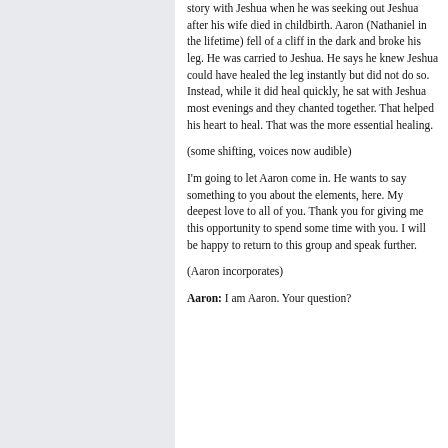story with Jeshua when he was seeking out Jeshua after his wife died in childbirth. Aaron (Nathaniel in the lifetime) fell of a cliff in the dark and broke his leg. He was carried to Jeshua. He says he knew Jeshua could have healed the leg instantly but did not do so. Instead, while it did heal quickly, he sat with Jeshua most evenings and they chanted together. That helped his heart to heal. That was the more essential healing.
(some shifting, voices now audible)
I'm going to let Aaron come in. He wants to say something to you about the elements, here. My deepest love to all of you. Thank you for giving me this opportunity to spend some time with you. I will be happy to return to this group and speak further.
(Aaron incorporates)
Aaron: I am Aaron. Your question?